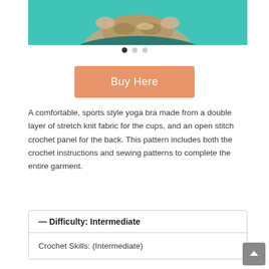[Figure (photo): Photo of a person with braided hair against a teal background, viewed from above/behind]
[Figure (other): Carousel navigation dots: one filled black, two grey]
Buy Here
A comfortable, sports style yoga bra made from a double layer of stretch knit fabric for the cups, and an open stitch crochet panel for the back. This pattern includes both the crochet instructions and sewing patterns to complete the entire garment.
| — Difficulty: Intermediate |
| --- |
| Crochet Skills: (Intermediate) |